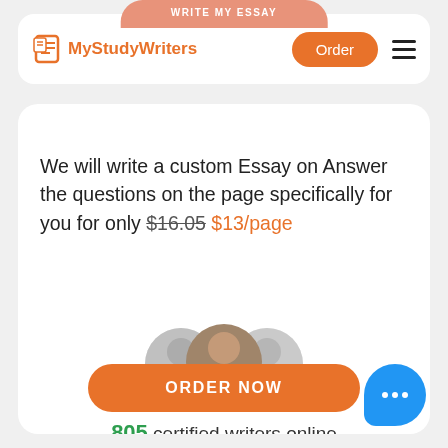WRITE MY ESSAY
[Figure (logo): MyStudyWriters logo with document icon, Order button, and hamburger menu]
We will write a custom Essay on Answer the questions on the page specifically for you for only $16.05 $13/page
[Figure (photo): Three overlapping circular avatar photos of writers with a green online indicator dot]
805 certified writers online
ORDER NOW